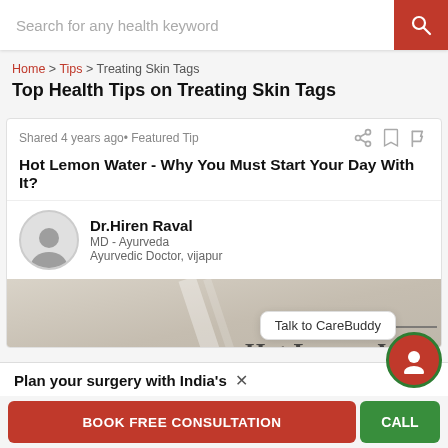Search for any health keyword
Home > Tips > Treating Skin Tags
Top Health Tips on Treating Skin Tags
Shared 4 years ago • Featured Tip
Hot Lemon Water - Why You Must Start Your Day With It?
Dr.Hiren Raval
MD - Ayurveda
Ayurvedic Doctor, vijapur
[Figure (photo): Article header image for Hot Lemon Water with partial text overlay reading 'Hot Lemon Water']
Plan your surgery with India's
Talk to CareBuddy
BOOK FREE CONSULTATION
CALL